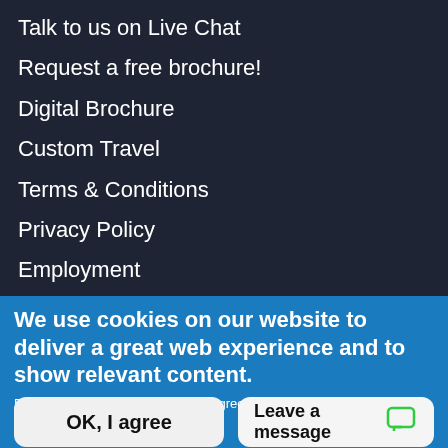Talk to us on Live Chat
Request a free brochure!
Digital Brochure
Custom Travel
Terms & Conditions
Privacy Policy
Employment
Site Map
Donation Request
We use cookies on our website to deliver a great web experience and to show relevant content.
By clicking the Accept button, you agree to us doing so.
No, give me more info
OK, I agree
Leave a message